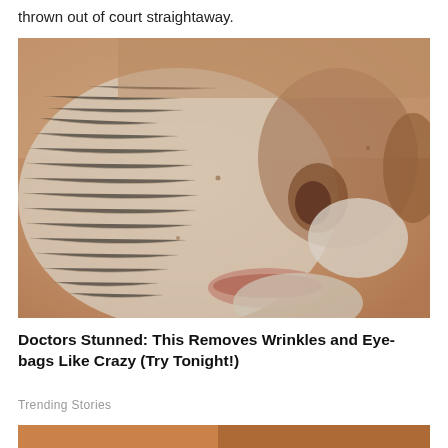thrown out of court straightaway.
[Figure (photo): Close-up photograph of an elderly person's wrinkled face showing fine lines and skin texture, with a white clay or cream mask applied to parts of the face including cheek, nose area and chin.]
Doctors Stunned: This Removes Wrinkles and Eye-bags Like Crazy (Try Tonight!)
Trending Stories
[Figure (photo): Partial view of another photo at the bottom of the page, showing warm reddish-orange tones.]